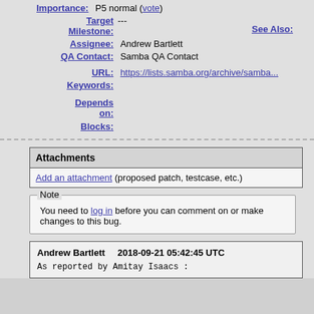Importance: P5 normal (vote)
Target Milestone: ---
See Also:
Assignee: Andrew Bartlett
QA Contact: Samba QA Contact
URL: https://lists.samba.org/archive/samba...
Keywords:
Depends on:
Blocks:
| Attachments |
| --- |
| Add an attachment (proposed patch, testcase, etc.) |
Note
You need to log in before you can comment on or make changes to this bug.
Andrew Bartlett    2018-09-21 05:42:45 UTC

As reported by Amitay Isaacs :